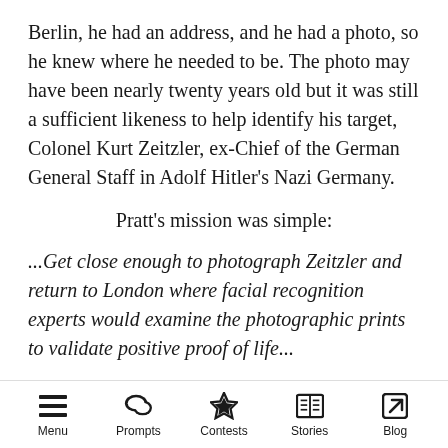Berlin, he had an address, and he had a photo, so he knew where he needed to be. The photo may have been nearly twenty years old but it was still a sufficient likeness to help identify his target, Colonel Kurt Zeitzler, ex-Chief of the German General Staff in Adolf Hitler's Nazi Germany.
Pratt's mission was simple:
...Get close enough to photograph Zeitzler and return to London where facial recognition experts would examine the photographic prints to validate positive proof of life...
Once identified, the Secret Intelligence Service (SIS) was to inform Israel's Mossad
Menu  Prompts  Contests  Stories  Blog